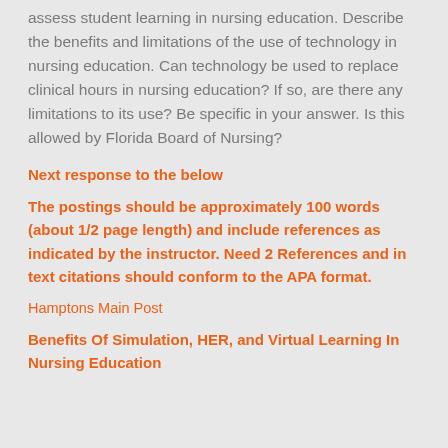assess student learning in nursing education. Describe the benefits and limitations of the use of technology in nursing education. Can technology be used to replace clinical hours in nursing education? If so, are there any limitations to its use? Be specific in your answer. Is this allowed by Florida Board of Nursing?
Next response to the below
The postings should be approximately 100 words (about 1/2 page length) and include references as indicated by the instructor. Need 2 References and in text citations should conform to the APA format.
Hamptons Main Post
Benefits Of Simulation, HER, and Virtual Learning In Nursing Education